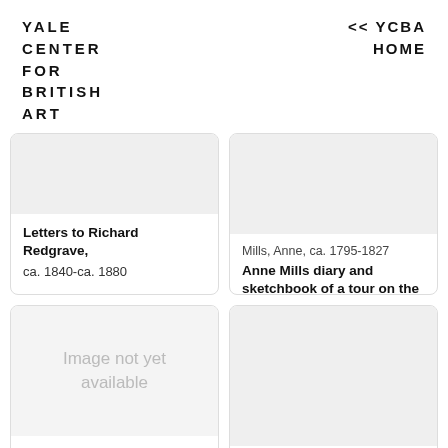YALE CENTER FOR BRITISH ART
<< YCBA HOME
Letters to Richard Redgrave, ca. 1840-ca. 1880
Mills, Anne, ca. 1795-1827
Anne Mills diary and sketchbook of a tour on the Continent
circa 1820
[Figure (other): Image not yet available placeholder]
[Figure (other): Image not yet (partially visible)]